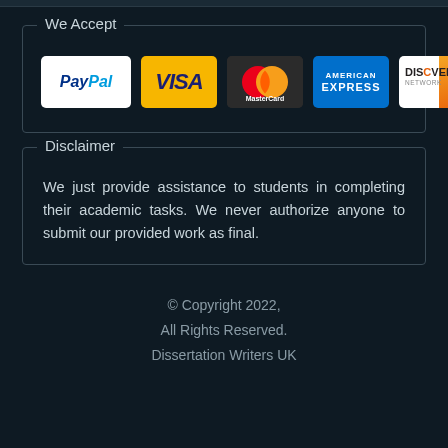We Accept
[Figure (illustration): Payment method logos: PayPal, VISA, MasterCard, American Express, Discover Network]
Disclaimer
We just provide assistance to students in completing their academic tasks. We never authorize anyone to submit our provided work as final.
© Copyright 2022, All Rights Reserved. Dissertation Writers UK